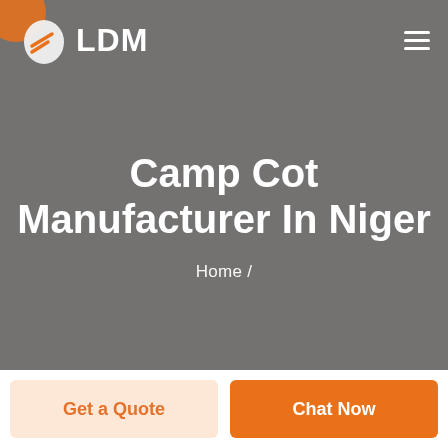[Figure (logo): LDM brand logo with shield/leaf icon and text LDM in white on grey background, hamburger menu icon top right]
Camp Cot Manufacturer In Niger
Home /
Get a Quote
Chat Now